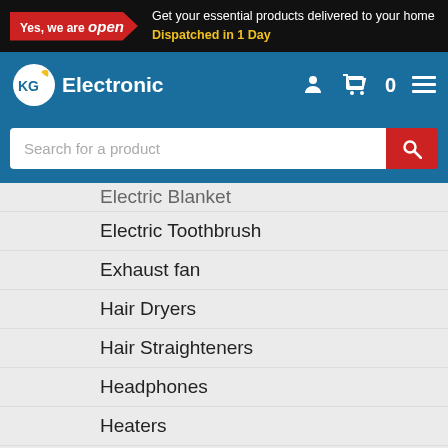Get your essential products delivered to your home
Dispatched in 1 Day
[Figure (logo): KG Electronic logo with shopping cart icon and navigation icons]
Search for a product
Electric Blanket (partially visible)
Electric Toothbrush
Exhaust fan
Hair Dryers
Hair Straighteners
Headphones
Heaters
Jumping Castle
Kettles
Microwaves
Pasta Maker
Pet Clipper
Portable Ovens
Portable Air Conditioners
Rice Cooker (partially visible)